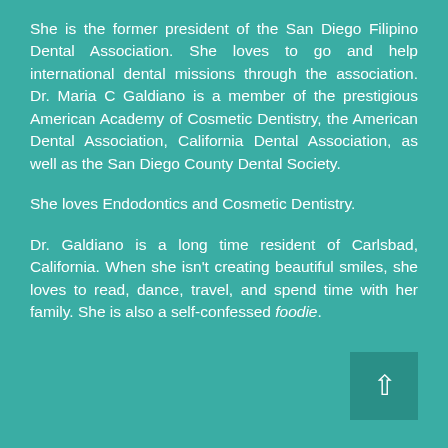She is the former president of the San Diego Filipino Dental Association. She loves to go and help international dental missions through the association. Dr. Maria C Galdiano is a member of the prestigious American Academy of Cosmetic Dentistry, the American Dental Association, California Dental Association, as well as the San Diego County Dental Society.
She loves Endodontics and Cosmetic Dentistry.
Dr. Galdiano is a long time resident of Carlsbad, California. When she isn't creating beautiful smiles, she loves to read, dance, travel, and spend time with her family. She is also a self-confessed foodie.